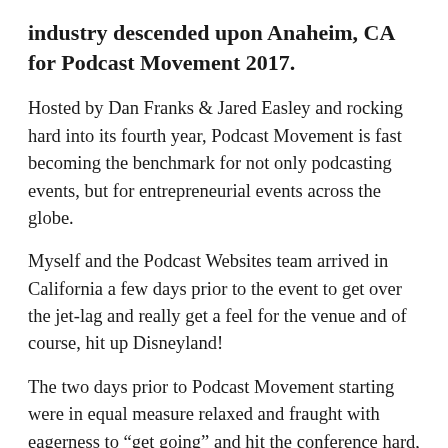industry descended upon Anaheim, CA for Podcast Movement 2017.
Hosted by Dan Franks & Jared Easley and rocking hard into its fourth year, Podcast Movement is fast becoming the benchmark for not only podcasting events, but for entrepreneurial events across the globe.
Myself and the Podcast Websites team arrived in California a few days prior to the event to get over the jet-lag and really get a feel for the venue and of course, hit up Disneyland!
The two days prior to Podcast Movement starting were in equal measure relaxed and fraught with eagerness to “get going” and hit the conference hard, and with time to spare we had the Podcast Websites exhibitor booth set up and ready to rock – featuring our superb 2017 limited